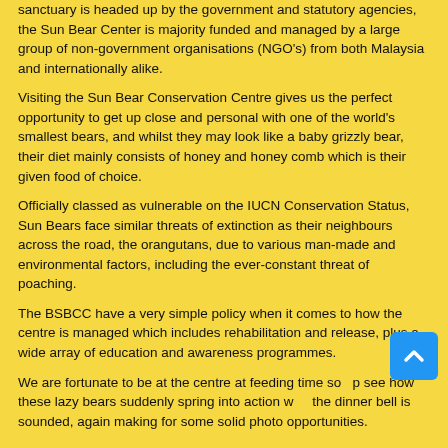sanctuary is headed up by the government and statutory agencies, the Sun Bear Center is majority funded and managed by a large group of non-government organisations (NGO's) from both Malaysia and internationally alike.
Visiting the Sun Bear Conservation Centre gives us the perfect opportunity to get up close and personal with one of the world's smallest bears, and whilst they may look like a baby grizzly bear, their diet mainly consists of honey and honey comb which is their given food of choice.
Officially classed as vulnerable on the IUCN Conservation Status, Sun Bears face similar threats of extinction as their neighbours across the road, the orangutans, due to various man-made and environmental factors, including the ever-constant threat of poaching.
The BSBCC have a very simple policy when it comes to how the centre is managed which includes rehabilitation and release, plus a wide array of education and awareness programmes.
We are fortunate to be at the centre at feeding time so to see how these lazy bears suddenly spring into action when the dinner bell is sounded, again making for some solid photo opportunities.